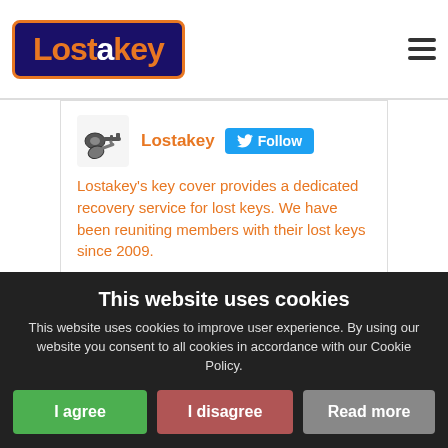[Figure (logo): Lostakey logo: orange text on dark navy background with orange border]
[Figure (screenshot): Twitter/social media profile card for Lostakey with Follow button. Text: Lostakey's key cover provides a dedicated recovery service for lost keys. We have been reuniting members with their lost keys since 2009.]
[Figure (screenshot): Tweet from Lostakey @lostakey · 10h: Lostawallaby https://www.mirror.co.uk/news/uk-]
This website uses cookies
This website uses cookies to improve user experience. By using our website you consent to all cookies in accordance with our Cookie Policy.
I agree
I disagree
Read more